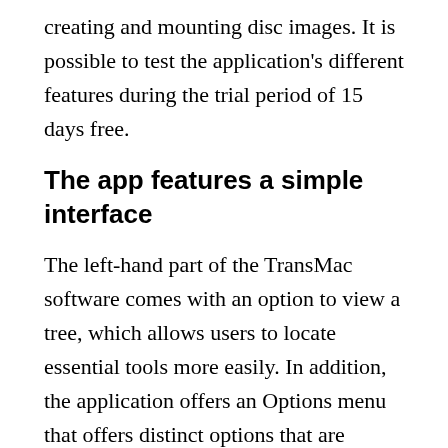creating and mounting disc images. It is possible to test the application's different features during the trial period of 15 days free.
The app features a simple interface
The left-hand part of the TransMac software comes with an option to view a tree, which allows users to locate essential tools more easily. In addition, the application offers an Options menu that offers distinct options that are available for macOS as well as Windows OS. The general settings menu allows users to set up the app's ability to burn discs. TransMac Full Crack 2022 Key also